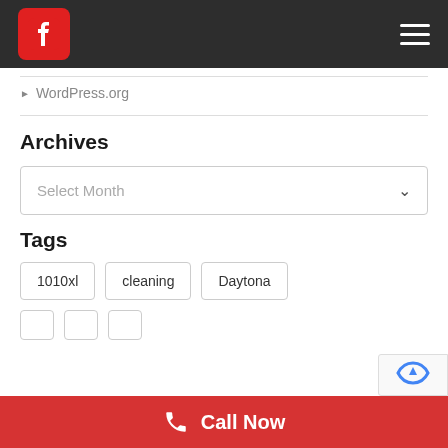Facebook icon and hamburger menu navigation bar
▸ WordPress.org
Archives
Select Month
Tags
1010xl
cleaning
Daytona
Call Now